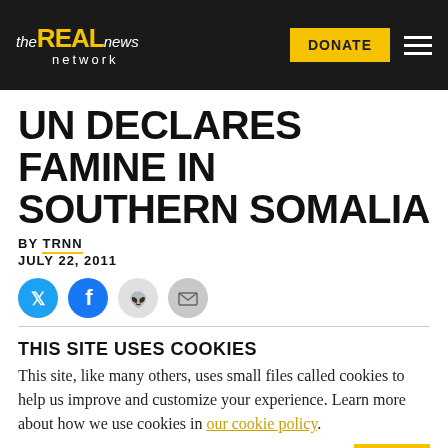the REAL news network | DONATE
UN DECLARES FAMINE IN SOUTHERN SOMALIA
BY TRNN
JULY 22, 2011
[Figure (other): Social share buttons: Twitter, Facebook, Reddit, Email]
THIS SITE USES COOKIES
This site, like many others, uses small files called cookies to help us improve and customize your experience. Learn more about how we use cookies in our cookie policy.
Learn more about cookies   OK